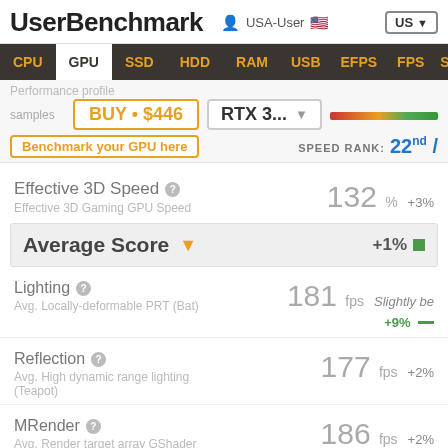UserBenchmark — USA-User — US
CPU  GPU  SSD  HDD  RAM  USB  EFPS  FPS  Sk
Performance profile
samples
BUY • $446
RTX 3...
Benchmark your GPU here
SPEED RANK: 22nd /
Effective 3D Speed
Effective 3D Gaming GPU Speed
132 %  +3%
Average Score ▼  +1% ■
Lighting
Avg. Locally-deformable PRT (Bat)
181 fps   Slightly be  +9% —
Reflection
Avg. High dynamic range lighting (Teapot)
177 fps  +2%
MRender
Avg. Render target array GShader
186 fps  +2%